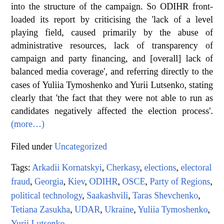into the structure of the campaign. So ODIHR front-loaded its report by criticising the 'lack of a level playing field, caused primarily by the abuse of administrative resources, lack of transparency of campaign and party financing, and [overall] lack of balanced media coverage', and referring directly to the cases of Yuliia Tymoshenko and Yurii Lutsenko, stating clearly that 'the fact that they were not able to run as candidates negatively affected the election process'. (more…)
Filed under Uncategorized
Tags: Arkadii Kornatskyi, Cherkasy, elections, electoral fraud, Georgia, Kiev, ODIHR, OSCE, Party of Regions, political technology, Saakashvili, Taras Shevchenko, Tetiana Zasukha, UDAR, Ukraine, Yuliia Tymoshenko, Yurii Lutsenko
No Comments »